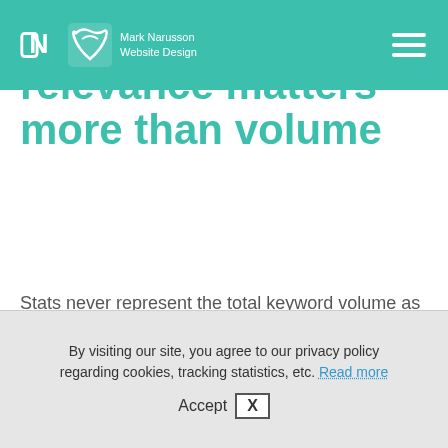Mark Narusson Website Design
relevance matters more than volume
Stats never represent the total keyword volume as they don't combine all related keyword possibilities.
And they are often a 1-3 keyword phrase. Nor do they account for SERP share (Search Engine Results Pages).
By visiting our site, you agree to our privacy policy regarding cookies, tracking statistics, etc. Read more